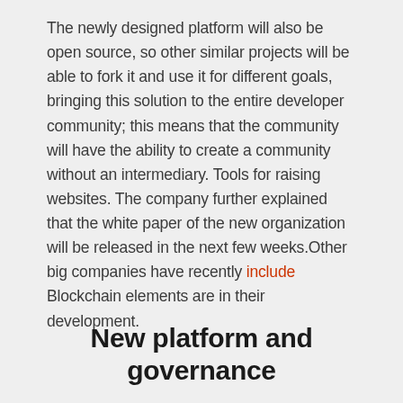The newly designed platform will also be open source, so other similar projects will be able to fork it and use it for different goals, bringing this solution to the entire developer community; this means that the community will have the ability to create a community without an intermediary. Tools for raising websites. The company further explained that the white paper of the new organization will be released in the next few weeks.Other big companies have recently include Blockchain elements are in their development.
New platform and governance